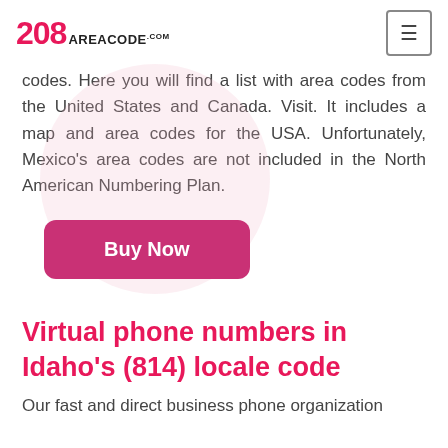208 AREACODE.com
codes. Here you will find a list with area codes from the United States and Canada. Visit. It includes a map and area codes for the USA. Unfortunately, Mexico's area codes are not included in the North American Numbering Plan.
[Figure (illustration): Decorative pink circle in the background behind the Buy Now button]
Buy Now
Virtual phone numbers in Idaho's (814) locale code
Our fast and direct business phone organization